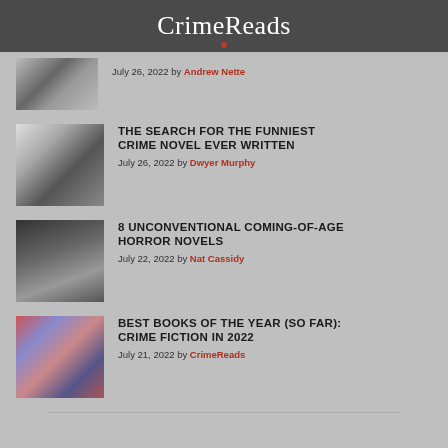CrimeReads
July 26, 2022 by Andrew Nette
THE SEARCH FOR THE FUNNIEST CRIME NOVEL EVER WRITTEN
July 26, 2022 by Dwyer Murphy
8 UNCONVENTIONAL COMING-OF-AGE HORROR NOVELS
July 22, 2022 by Nat Cassidy
BEST BOOKS OF THE YEAR (SO FAR): CRIME FICTION IN 2022
July 21, 2022 by CrimeReads